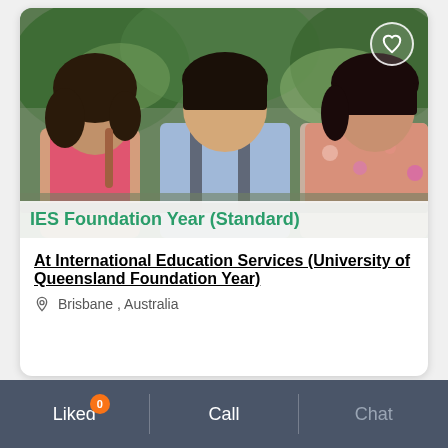[Figure (photo): Three smiling students (two women and one man with a backpack) sitting outdoors with greenery in background. A heart/favorite icon button is in the top-right corner of the image. A title overlay at the bottom reads 'IES Foundation Year (Standard)' in teal/green bold text on a semi-transparent white bar.]
At International Education Services (University of Queensland Foundation Year)
Brisbane , Australia
Liked  0   |   Call   |   Chat